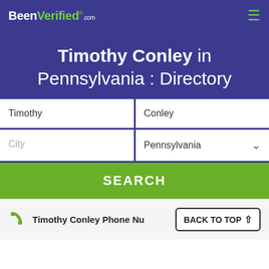BeenVerified.com
Timothy Conley in Pennsylvania : Directory
Timothy | Conley | City | Pennsylvania
SEARCH
Timothy Conley Phone Nu... BACK TO TOP ↑